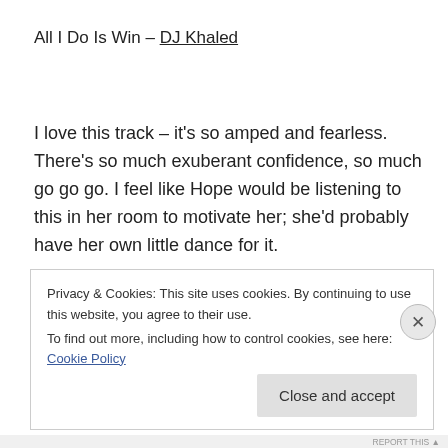All I Do Is Win – DJ Khaled
I love this track – it's so amped and fearless. There's so much exuberant confidence, so much go go go. I feel like Hope would be listening to this in her room to motivate her; she'd probably have her own little dance for it.
Privacy & Cookies: This site uses cookies. By continuing to use this website, you agree to their use.
To find out more, including how to control cookies, see here: Cookie Policy
Close and accept